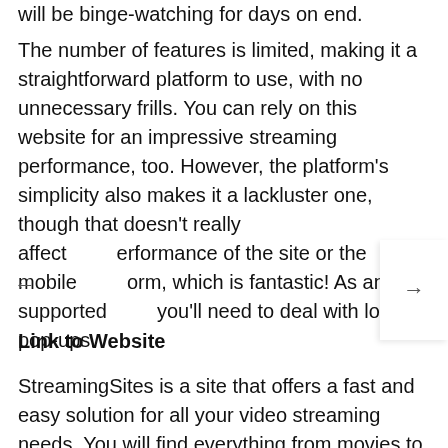will be binge-watching for days on end.
The number of features is limited, making it a straightforward platform to use, with no unnecessary frills. You can rely on this website for an impressive streaming performance, too. However, the platform's simplicity also makes it a lackluster one, though that doesn't really affect performance of the site or the mobile platform, which is fantastic! As an ad-supported you'll need to deal with lots of pop-ups.
Link to Website
StreamingSites is a site that offers a fast and easy solution for all your video streaming needs. You will find everything from movies to TV shows from across the world in its collection. The best part is that the collection is not limited to just TV shows and movies. You will be able to access